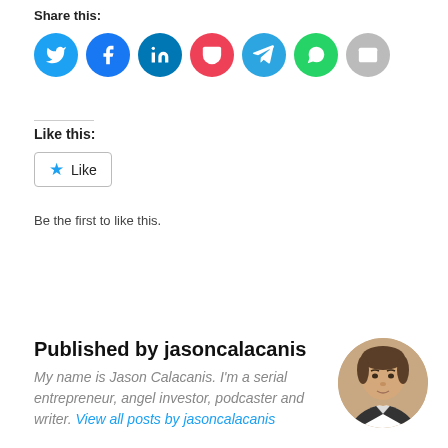Share this:
[Figure (infographic): Row of 7 social share icon circles: Twitter (blue), Facebook (blue), LinkedIn (dark blue), Pocket (red/pink), Telegram (light blue), WhatsApp (green), Email (grey)]
Like this:
[Figure (infographic): Like button with star icon and 'Like' text, styled with a border box]
Be the first to like this.
Published by jasoncalacanis
My name is Jason Calacanis. I'm a serial entrepreneur, angel investor, podcaster and writer. View all posts by jasoncalacanis
[Figure (photo): Circular portrait photo of Jason Calacanis, a man in a suit]